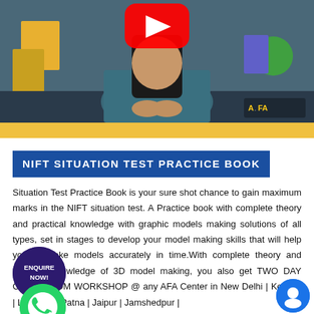[Figure (screenshot): Video thumbnail showing a woman in teal clothing seated at a desk with colorful geometric shapes in background, YouTube play button at top center, AFA logo at bottom right]
NIFT SITUATION TEST PRACTICE BOOK
Situation Test Practice Book is your sure shot chance to gain maximum marks in the NIFT situation test. A Practice book with complete theory and practical knowledge with graphic models making solutions of all types, set in stages to develop your model making skills that will help you to make models accurately in time.With complete theory and practical knowledge of 3D model making, you also get TWO DAY CLASSROOM WORKSHOP @ any AFA Center in New Delhi | Kolkata | Lucknow | Patna | Jaipur | Jamshedpur |